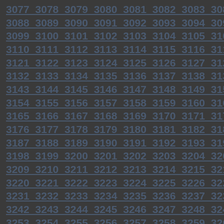3077 3078 3079 3080 3081 3082 3083 3084 3085 3086 3087 3088 3089 3090 3091 3092 3093 3094 3095 3096 3097 3098 3099 3100 3101 3102 3103 3104 3105 3106 3107 3108 3109 3110 3111 3112 3113 3114 3115 3116 3117 3118 3119 3120 3121 3122 3123 3124 3125 3126 3127 3128 3129 3130 3131 3132 3133 3134 3135 3136 3137 3138 3139 3140 3141 3142 3143 3144 3145 3146 3147 3148 3149 3150 3151 3152 3153 3154 3155 3156 3157 3158 3159 3160 3161 3162 3163 3164 3165 3166 3167 3168 3169 3170 3171 3172 3173 3174 3175 3176 3177 3178 3179 3180 3181 3182 3183 3184 3185 3186 3187 3188 3189 3190 3191 3192 3193 3194 3195 3196 3197 3198 3199 3200 3201 3202 3203 3204 3205 3206 3207 3208 3209 3210 3211 3212 3213 3214 3215 3216 3217 3218 3219 3220 3221 3222 3223 3224 3225 3226 3227 3228 3229 3230 3231 3232 3233 3234 3235 3236 3237 3238 3239 3240 3241 3242 3243 3244 3245 3246 3247 3248 3249 3250 3251 3252 3253 3254 3255 3256 3257 3258 3259 3260 3261 3262 3263 3264 3265 3266 3267 3268 3269 3270 3271 3272 3273 3274 3275 3276 3277 3278 3279 3280 3281 3282 3283 3284 3285 3286 3287 3288 3289 3290 3291 3292 3293 3294 3295 3296 3297 3298 3299 3300 3301 3302 3303 3304 3305 3306 3307